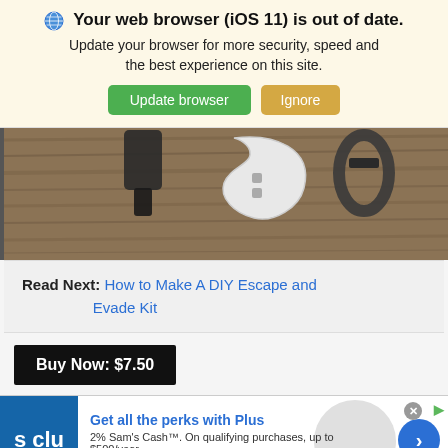Your web browser (iOS 11) is out of date. Update your browser for more security, speed and the best experience on this site. Update browser | Ignore
[Figure (photo): Close-up photo of small metal tools including a white hook-shaped blade and black carabiner clips on a wooden surface]
Read Next: How to Make A DIY Escape and Evade Kit
Buy Now: $7.50
[Figure (other): Sam's Club advertisement banner with blue S CLU logo, headline 'Get all the perks with Plus', subtext '2% Sam's Cash™. On qualifying purchases, up to $500/year.', URL www.samsclub.com, and blue circle arrow CTA button]